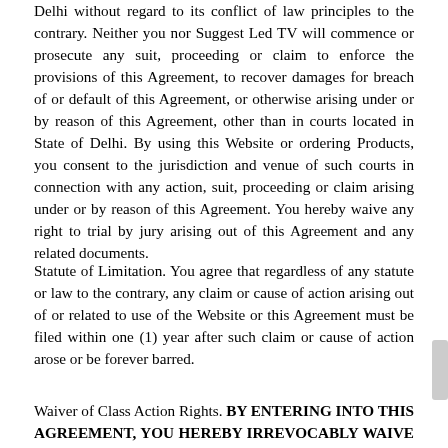Delhi without regard to its conflict of law principles to the contrary. Neither you nor Suggest Led TV will commence or prosecute any suit, proceeding or claim to enforce the provisions of this Agreement, to recover damages for breach of or default of this Agreement, or otherwise arising under or by reason of this Agreement, other than in courts located in State of Delhi. By using this Website or ordering Products, you consent to the jurisdiction and venue of such courts in connection with any action, suit, proceeding or claim arising under or by reason of this Agreement. You hereby waive any right to trial by jury arising out of this Agreement and any related documents.
Statute of Limitation. You agree that regardless of any statute or law to the contrary, any claim or cause of action arising out of or related to use of the Website or this Agreement must be filed within one (1) year after such claim or cause of action arose or be forever barred.
Waiver of Class Action Rights. BY ENTERING INTO THIS AGREEMENT, YOU HEREBY IRREVOCABLY WAIVE ANY RIGHT YOU MAY HAVE TO JOIN CLAIMS WITH THOSE OF